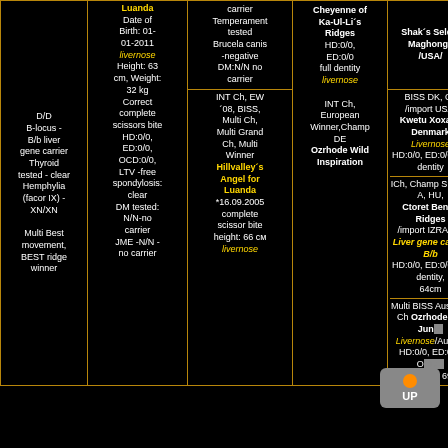| Col1 | Luanda | Col3 | Cheyenne of Ka-Ul-Li's Ridges | Col5 |
| --- | --- | --- | --- | --- |
| D/D B-locus - B/b liver gene carrier Thyroid tested - clear Hemphylia (facor IX) - XN/XN

Multi Best movement, BEST ridge winner | Luanda
Date of Birth: 01-01-2011
livernose
Height: 63 cm, Weight: 32 kg
Correct complete scissors bite HD:0/0, ED:0/0, OCD:0/0, LTV -free spondylosis: clear
DM tested: N/N-no carrier
JME -N/N - no carrier | carrier
Temperament tested
Brucela canis -negative
DM:N/N no carrier

INT Ch, EW ´08, BISS, Multi Ch, Multi Grand Ch, Multi Winner
Hillvalley´s Angel for Luanda
*16.09.2005
complete scissor bite
height: 66 cm
livernose | Cheyenne of Ka-Ul-Li´s Ridges
HD:0/0, ED:0/0
full dentity
livernose

INT Ch, European Winner,Champ DE
Ozrhode Wild Inspiration | Shak´s Select Maghongy /USA/

BISS DK, Ch /import USA/ Kwetu Xoxa in Denmark Livernose HD:0/0, ED:0/0, full dentity

ICh, Champ SK,CZ, A, HU, Ctoret Beni´s Ridges /import IZRAEL / Liver gene carrier B/b HD:0/0, ED:0/0, full dentity, 64cm

Multi BISS Australia Ch Ozrhode Dia Jum...es Livernose/Austi... HD:0/0, ED:0/0, OC... full dentity, 69cm |